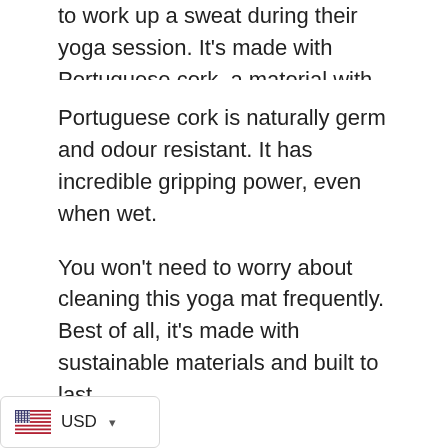to work up a sweat during their yoga session. It's made with Portuguese cork, a material with many beneficial properties.
Portuguese cork is naturally germ and odour resistant. It has incredible gripping power, even when wet.
You won't need to worry about cleaning this yoga mat frequently. Best of all, it's made with sustainable materials and built to last.
Pros
Perfect for sweaty users
USD